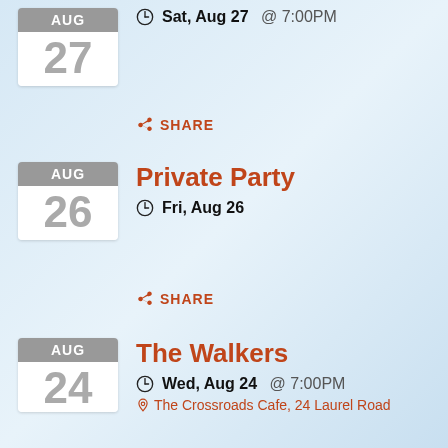27, AUG - Sat, Aug 27 @ 7:00PM
SHARE
Private Party
Fri, Aug 26
SHARE
The Walkers
Wed, Aug 24 @ 7:00PM
The Crossroads Cafe, 24 Laurel Road